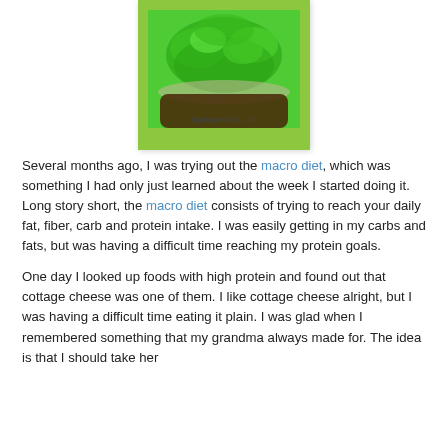[Figure (photo): Photo of a bowl of green food (broccoli or similar greens) on a bright green background card with watermark 'figuringitout101.com']
Several months ago, I was trying out the macro diet, which was something I had only just learned about the week I started doing it. Long story short, the macro diet consists of trying to reach your daily fat, fiber, carb and protein intake. I was easily getting in my carbs and fats, but was having a difficult time reaching my protein goals.
One day I looked up foods with high protein and found out that cottage cheese was one of them. I like cottage cheese alright, but I was having a difficult time eating it plain. I was glad when I remembered something that my grandma always made for. The idea is that I should take her...